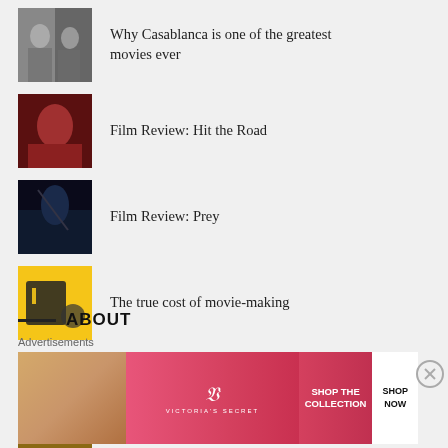Why Casablanca is one of the greatest movies ever
Film Review: Hit the Road
Film Review: Prey
The true cost of movie-making
Film Review: 'The Apartment'
Film Review: Nope
ABOUT
Advertisements
[Figure (screenshot): Victoria's Secret advertisement banner with pink background, model photo, VS logo, 'SHOP THE COLLECTION' text, and 'SHOP NOW' button]